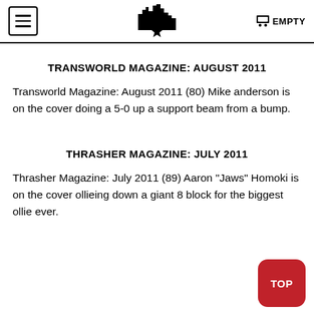EMPTY
TRANSWORLD MAGAZINE: AUGUST 2011
Transworld Magazine: August 2011 (80) Mike anderson is on the cover doing a 5-0 up a support beam from a bump.
THRASHER MAGAZINE: JULY 2011
Thrasher Magazine: July 2011 (89) Aaron "Jaws" Homoki is on the cover ollieing down a giant 8 block for the biggest ollie ever.